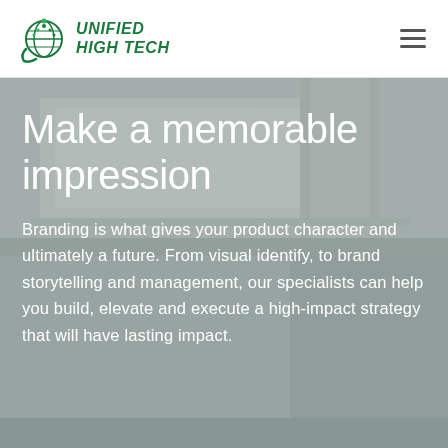Unified High Tech
[Figure (photo): Architectural interior background — light grey modern ceiling and structural elements, slightly blurred, used as hero banner background]
Make a memorable impression
Branding is what gives your product character and ultimately a future. From visual identify, to brand storytelling and management, our specialists can help you build, elevate and execute a high-impact strategy that will have lasting impact.